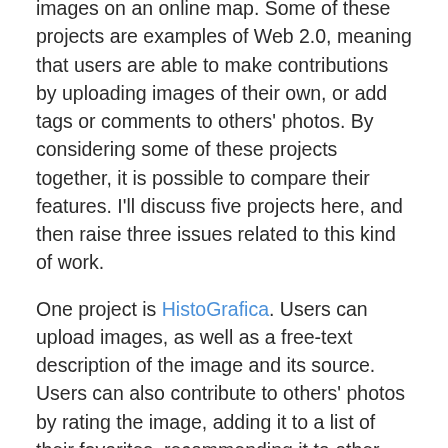images on an online map. Some of these projects are examples of Web 2.0, meaning that users are able to make contributions by uploading images of their own, or add tags or comments to others' photos. By considering some of these projects together, it is possible to compare their features. I'll discuss five projects here, and then raise three issues related to this kind of work.
One project is HistoGrafica. Users can upload images, as well as a free-text description of the image and its source. Users can also contribute to others' photos by rating the image, adding it to a list of their favorites, recommending it to other users, or suggesting that the location assigned to the image may be incorrect. Images can be searched by location on the map or keywords that search the images' descriptions, and search results can be limited to a range of years.